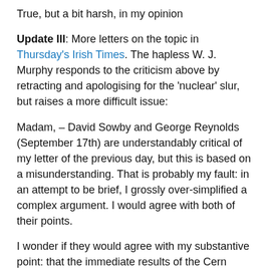True, but a bit harsh, in my opinion
Update III: More letters on the topic in Thursday's Irish Times. The hapless W. J. Murphy responds to the criticism above by retracting and apologising for the ‘nuclear’ slur, but raises a more difficult issue:
Madam, – David Sowby and George Reynolds (September 17th) are understandably critical of my letter of the previous day, but this is based on a misunderstanding. That is probably my fault: in an attempt to be brief, I grossly over-simplified a complex argument. I would agree with both of their points.
I wonder if they would agree with my substantive point: that the immediate results of the Cern project would not justify the pouring of millions of hard-earned Irish taxpayers money into it and that Irish high-tech companies